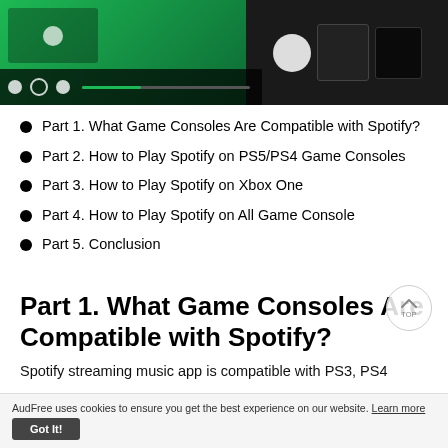[Figure (screenshot): Screenshot showing Spotify app interface on the left (green background, music player controls) and game consoles (PS5/PS4/Xbox) on dark background on the right]
Part 1. What Game Consoles Are Compatible with Spotify?
Part 2. How to Play Spotify on PS5/PS4 Game Consoles
Part 3. How to Play Spotify on Xbox One
Part 4. How to Play Spotify on All Game Console
Part 5. Conclusion
Part 1. What Game Consoles Are Compatible with Spotify?
Spotify streaming music app is compatible with PS3, PS4
AudFree uses cookies to ensure you get the best experience on our website. Learn more